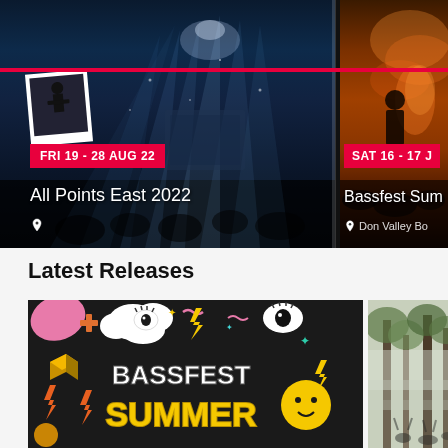[Figure (photo): Concert event card showing All Points East 2022 with blue laser lights, date badge FRI 19 - 28 AUG 22, and location pin icon]
[Figure (photo): Concert event card showing Bassfest Summer with orange fire/warm lights, date badge SAT 16 - 17 J..., location Don Valley Bo...]
Latest Releases
[Figure (illustration): Bassfest Summer colorful cartoon-style promotional artwork with BASSFEST text in white and SUMMER in yellow on dark background with lightning bolts, eyes, clouds, and geometric shapes]
[Figure (photo): Forest/outdoor festival photo with trees and misty atmosphere, partially cropped]